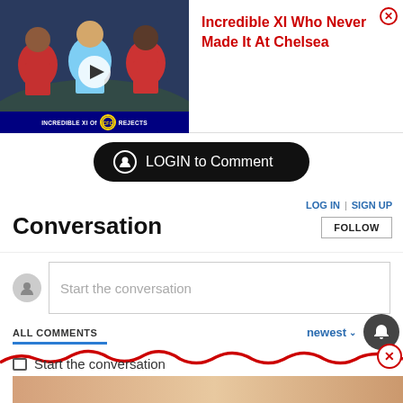[Figure (screenshot): Ad banner showing 'Incredible XI Of Chelsea Rejects' video thumbnail with football players and Chelsea badge, play button overlay]
Incredible XI Who Never Made It At Chelsea
LOGIN to Comment
LOG IN  |  SIGN UP
Conversation
FOLLOW
Start the conversation
ALL COMMENTS
newest
Start the conversation
[Figure (screenshot): Bottom ad banner showing 'Hold and Move' game advertisement with cartoon figures]